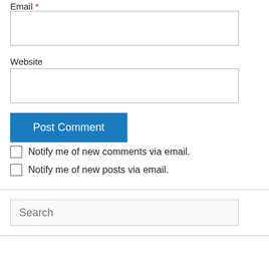Email *
Website
Post Comment
Notify me of new comments via email.
Notify me of new posts via email.
Search